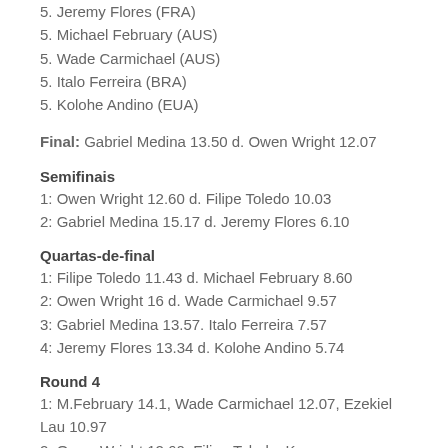5. Jeremy Flores (FRA)
5. Michael February (AUS)
5. Wade Carmichael (AUS)
5. Italo Ferreira (BRA)
5. Kolohe Andino (EUA)
Final: Gabriel Medina 13.50 d. Owen Wright 12.07
Semifinais
1: Owen Wright 12.60 d. Filipe Toledo 10.03
2: Gabriel Medina 15.17 d. Jeremy Flores 6.10
Quartas-de-final
1: Filipe Toledo 11.43 d. Michael February 8.60
2: Owen Wright 16 d. Wade Carmichael 9.57
3: Gabriel Medina 13.57. Italo Ferreira 7.57
4: Jeremy Flores 13.34 d. Kolohe Andino 5.74
Round 4
1: M.February 14.1, Wade Carmichael 12.07, Ezekiel Lau 10.97
2: Owen Wright 12.60, Filipe Toledo, K...